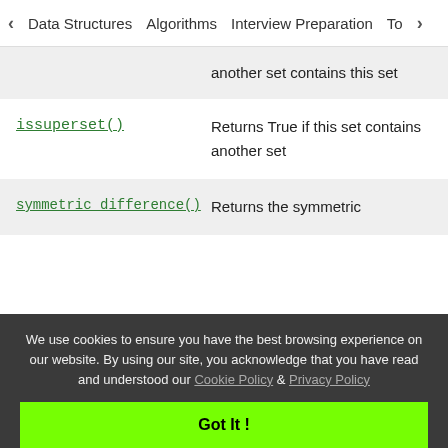< Data Structures   Algorithms   Interview Preparation   To>
| Method | Description |
| --- | --- |
| issuperset() | Returns True if this set contains another set |
| symmetric_difference() | Returns the symmetric |
We use cookies to ensure you have the best browsing experience on our website. By using our site, you acknowledge that you have read and understood our Cookie Policy & Privacy Policy
Got It !